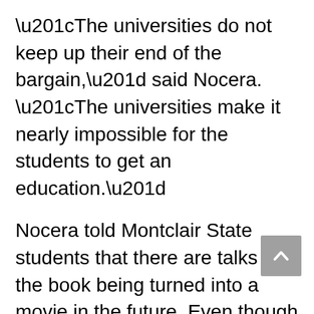“The universities do not keep up their end of the bargain,” said Nocera. “The universities make it nearly impossible for the students to get an education.”
Nocera told Montclair State students that there are talks of the book being turned into a movie in the future. Even though Nocera feels that a movie would have an impact, he says it he is not sure whether it would make a difference.
“There are a lot of fans who are dead-set against the idea of the players getting anything more,” said Nocera. “It is hard to say whether a book, a movie or a speech would